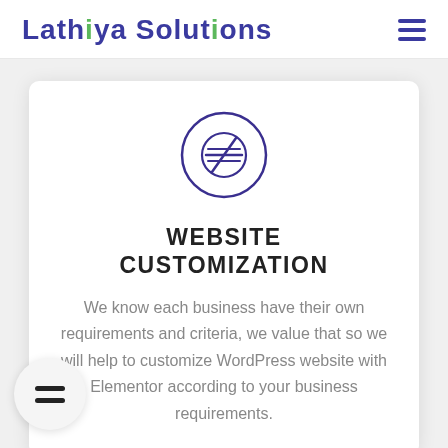Lathiya Solutions
[Figure (logo): Circular icon with a strikethrough dollar/currency symbol in dark purple, enclosed in a hand-drawn style circle outline]
WEBSITE CUSTOMIZATION
We know each business have their own requirements and criteria, we value that so we will help to customize WordPress website with Elementor according to your business requirements.